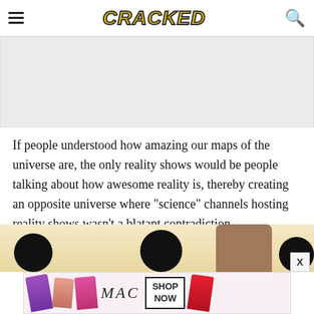CRACKED
[Figure (other): Gray advertisement placeholder banner]
If people understood how amazing our maps of the universe are, the only reality shows would be people talking about how awesome reality is, thereby creating an opposite universe where "science" channels hosting reality shows wasn't a blatant contradiction.
[Figure (photo): Partial bottom image strip showing dark silhouettes and a face against a light background]
[Figure (other): MAC cosmetics advertisement banner with lipsticks and SHOP NOW button]